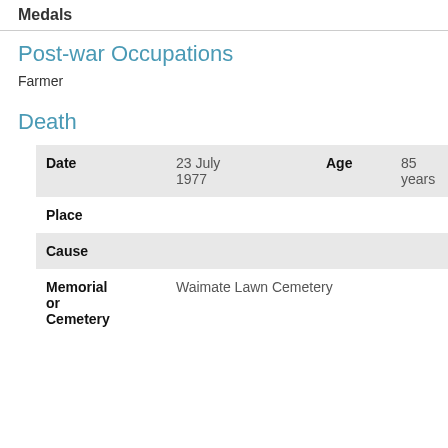Medals
Post-war Occupations
Farmer
Death
| Date |  | Age |  | Place | Cause | Memorial or Cemetery |
| --- | --- | --- | --- | --- | --- | --- |
| Date | 23 July 1977 | Age | 85 years |
| Place |  |  |  |
| Cause |  |  |  |
| Memorial or Cemetery | Waimate Lawn Cemetery |  |  |